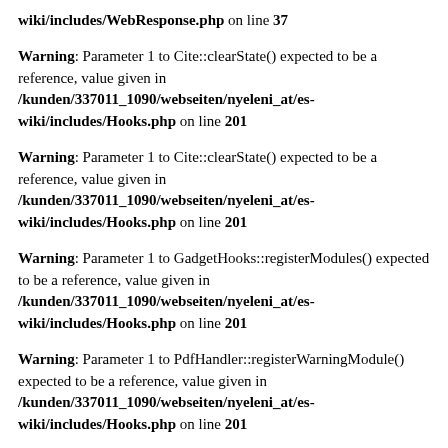wiki/includes/WebResponse.php on line 37
Warning: Parameter 1 to Cite::clearState() expected to be a reference, value given in /kunden/337011_1090/webseiten/nyeleni_at/es-wiki/includes/Hooks.php on line 201
Warning: Parameter 1 to Cite::clearState() expected to be a reference, value given in /kunden/337011_1090/webseiten/nyeleni_at/es-wiki/includes/Hooks.php on line 201
Warning: Parameter 1 to GadgetHooks::registerModules() expected to be a reference, value given in /kunden/337011_1090/webseiten/nyeleni_at/es-wiki/includes/Hooks.php on line 201
Warning: Parameter 1 to PdfHandler::registerWarningModule() expected to be a reference, value given in /kunden/337011_1090/webseiten/nyeleni_at/es-wiki/includes/Hooks.php on line 201
Warning: Parameter 1 to Cite::clearState() expected to be a reference, value given in /kunden/337011_1090/webseiten/nyeleni_at/es-